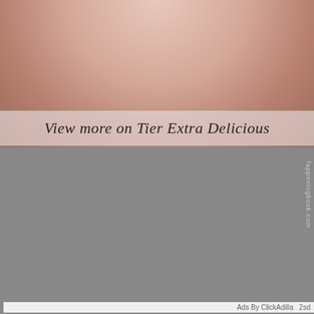[Figure (photo): Close-up photo of person's lower body/legs against a light purple-grey background]
View more on Tier Extra Delicious
[Figure (photo): Person in red-hair cosplay with devil horns costume, selfie-style photo]
fappeningbook.com
1
Kate sent you (5) pictures
Click OK to display the photo
Ok
Ads By ClickAdilla   2sd